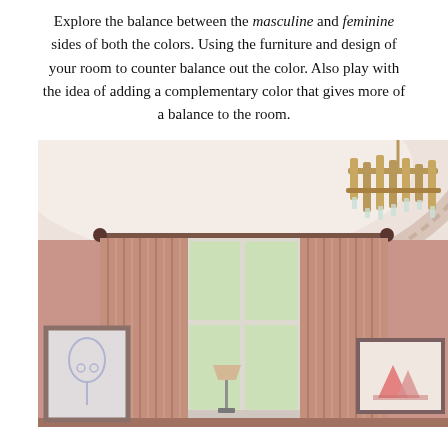Explore the balance between the masculine and feminine sides of both the colors. Using the furniture and design of your room to counter balance out the color. Also play with the idea of adding a complementary color that gives more of a balance to the room.
[Figure (photo): Interior room photo showing a pink-walled room with a curved plaster cornice, a gold/brass geometric chandelier, pink curtains flanking a white-framed window with garden view, a floor lamp, and two framed artworks on the walls.]